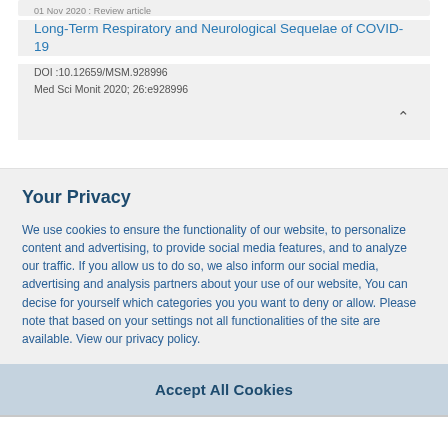01 Nov 2020 : Review article
Long-Term Respiratory and Neurological Sequelae of COVID-19
DOI :10.12659/MSM.928996
Med Sci Monit 2020; 26:e928996
Your Privacy
We use cookies to ensure the functionality of our website, to personalize content and advertising, to provide social media features, and to analyze our traffic. If you allow us to do so, we also inform our social media, advertising and analysis partners about your use of our website, You can decise for yourself which categories you you want to deny or allow. Please note that based on your settings not all functionalities of the site are available. View our privacy policy.
Accept All Cookies